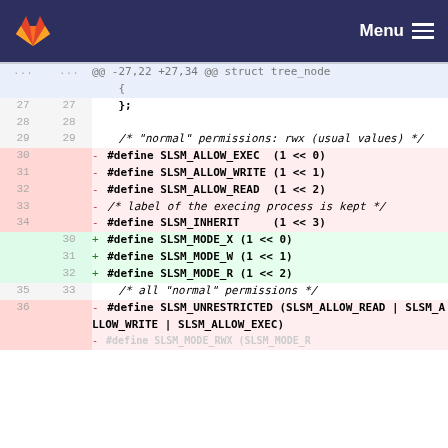[Figure (screenshot): GitLab navigation bar with orange fox logo and Menu hamburger icon on dark navy background]
@@ -27,22 +27,34 @@ struct tree_node
    {
27  27  };
28  28
29  29  /* "normal" permissions: rwx (usual values) */
30      - #define SLSM_ALLOW_EXEC  (1 << 0)
31      - #define SLSM_ALLOW_WRITE (1 << 1)
32      - #define SLSM_ALLOW_READ  (1 << 2)
33      - /* label of the execing process is kept */
34      - #define SLSM_INHERIT     (1 << 3)
    30  + #define SLSM_MODE_X (1 << 0)
    31  + #define SLSM_MODE_W (1 << 1)
    32  + #define SLSM_MODE_R (1 << 2)
35  33  /* all "normal" permissions */
36      - #define SLSM_UNRESTRICTED (SLSM_ALLOW_READ | SLSM_ALLOW_WRITE | SLSM_ALLOW_EXEC)